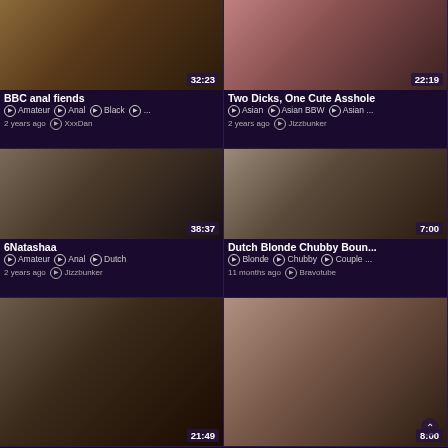[Figure (screenshot): Video thumbnail grid showing adult video listings with titles, tags, timestamps and source channels]
BBC anal fiends | Amateur Anal Black | 2 years ago XxxDan | 32:23
Two Dicks, One Cute Asshole | Asian Asian BBW Asian ... | 2 years ago Jizzbunker | 22:19
6Natashaa | Amateur Anal Dutch | 2 years ago Jizzbunker | 38:37
Dutch Blonde Chubby Boun... | Blonde Chubby Couple ... | 11 months ago Bravotube | 7:00
21:49 video thumbnail
8:00 video thumbnail